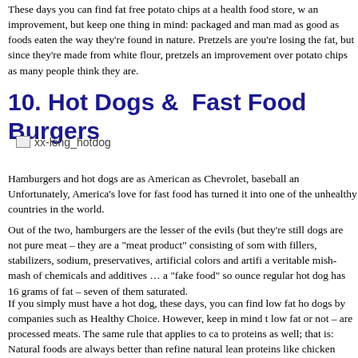These days you can find fat free potato chips at a health food store, w an improvement, but keep one thing in mind: packaged and man mad as good as foods eaten the way they're found in nature. Pretzels are you're losing the fat, but since they're made from white flour, pretzels an improvement over potato chips as many people think they are.
10. Hot Dogs &  Fast Food Burgers
[Figure (photo): Broken image placeholder labeled xx-long_hotdog]
Hamburgers and hot dogs are as American as Chevrolet, baseball an Unfortunately, America's love for fast food has turned it into one of the unhealthy countries in the world.
Out of the two, hamburgers are the lesser of the evils (but they're still dogs are not pure meat – they are a "meat product" consisting of som with fillers, stabilizers, sodium, preservatives, artificial colors and artifi a veritable mish-mash of chemicals and additives … a "fake food" so ounce regular hot dog has 16 grams of fat – seven of them saturated.
If you simply must have a hot dog, these days, you can find low fat ho dogs by companies such as Healthy Choice. However, keep in mind t low fat or not – are processed meats. The same rule that applies to ca to proteins as well; that is: Natural foods are always better than refine natural lean proteins like chicken breast and egg whites and avoid the processed meats as much as possible.
Hamburgers, while they may be made from real meat, are made from meat available. There's no such thing as "lean ground beef." Even the relatively high in fat. Read the labels and do the math for yourself.